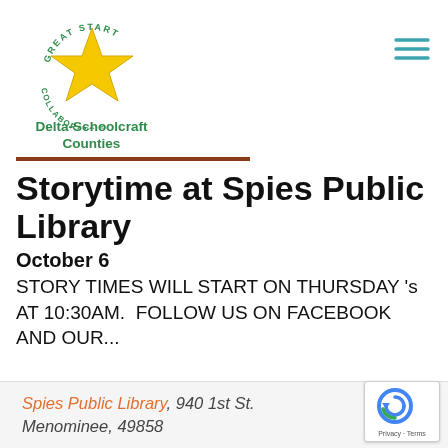[Figure (logo): Great Start Collaborative Delta-Schoolcraft Counties logo with yellow star and circular text]
Storytime at Spies Public Library
October 6
STORY TIMES WILL START ON THURSDAY 's  AT 10:30AM.  FOLLOW US ON FACEBOOK AND OUR...
Spies Public Library, 940 1st St. Menominee, 49858